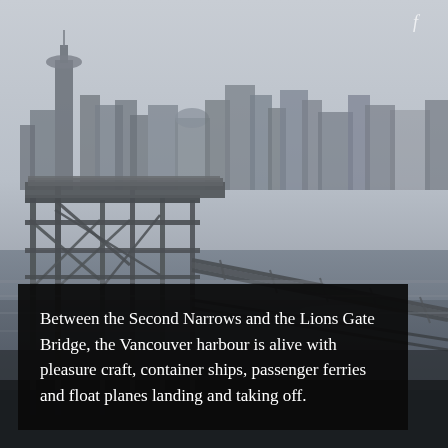[Figure (photo): Photograph of Vancouver harbour showing industrial dock/pier structures in the foreground with steel trusses and walkways over water, with the Vancouver city skyline including the Harbour Centre tower visible in the background against a grey overcast sky.]
Between the Second Narrows and the Lions Gate Bridge, the Vancouver harbour is alive with pleasure craft, container ships, passenger ferries and float planes landing and taking off.